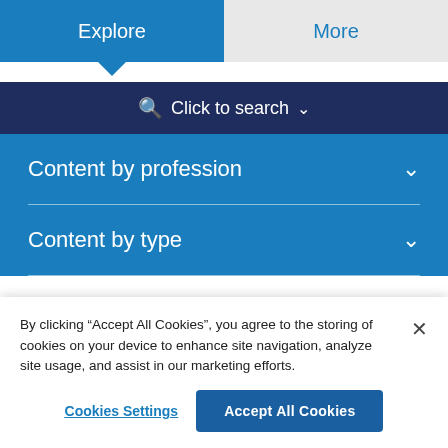Explore | More
Click to search
Content by profession
Content by type
By clicking “Accept All Cookies”, you agree to the storing of cookies on your device to enhance site navigation, analyze site usage, and assist in our marketing efforts.
Cookies Settings | Accept All Cookies